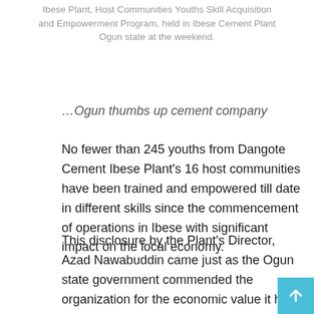Ibese Plant, Host Communities Youths Skill Acquisition and Empowerment Program, held in Ibese Cement Plant Ogun state at the weekend.
…Ogun thumbs up cement company
No fewer than 245 youths from Dangote Cement Ibese Plant's 16 host communities have been trained and empowered till date in different skills since the commencement of operations in Ibese with significant impact on the local economy.
This disclosure by the Plant's Director, Azad Nawabuddin came just as the Ogun state government commended the organization for the economic value it has been adding to the people and government of the state.